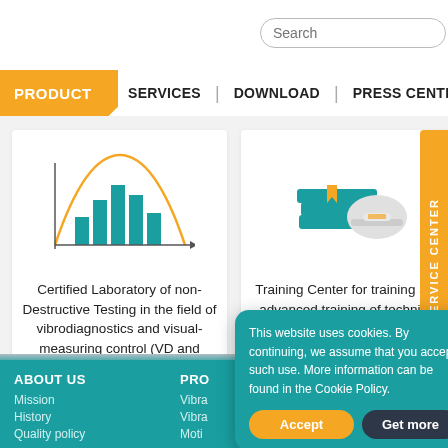Search
PRODUCT | SERVICES | DOWNLOAD | PRESS CENTER | CONTA
[Figure (illustration): Bar chart icon with bell-curve overlay and arrow, representing vibrodiagnostics laboratory]
Certified Laboratory of non-Destructive Testing in the field of vibrodiagnostics and visual-measuring control (VD and VMC)
[Figure (illustration): Stack of books with hard hat icon, representing training center]
Training Center for training and advanced training of technical specialists
SERVICE CENTER
ABOUT US
PRO
Mission
Vibra
History
Vibra
Quality policy
Moti
This website uses cookies. By continuing, we assume that you accept such use. More information can be found in the Cookie Policy.
Accept
Get more